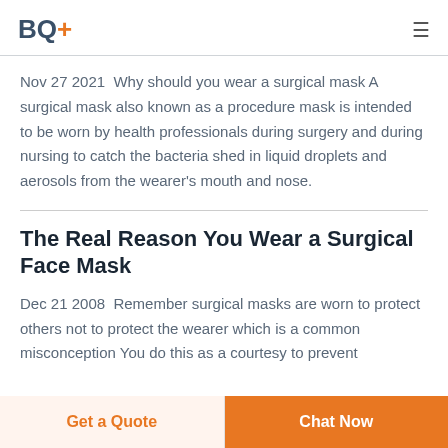BQ+
Nov 27 2021  Why should you wear a surgical mask A surgical mask also known as a procedure mask is intended to be worn by health professionals during surgery and during nursing to catch the bacteria shed in liquid droplets and aerosols from the wearer's mouth and nose.
The Real Reason You Wear a Surgical Face Mask
Dec 21 2008  Remember surgical masks are worn to protect others not to protect the wearer which is a common misconception You do this as a courtesy to prevent
Get a Quote | Chat Now